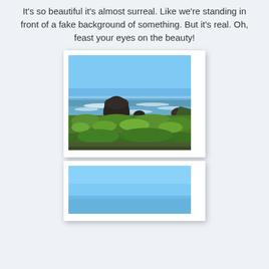It's so beautiful it's almost surreal. Like we're standing in front of a fake background of something. But it's real. Oh, feast your eyes on the beauty!
[Figure (photo): Coastal scene with large sea stack rock, ocean waves with white surf, lush green coastal vegetation in the foreground, and clear blue sky. Oregon coast style landscape.]
[Figure (photo): Second photo partially visible, showing blue sky, appears to be another coastal scene.]